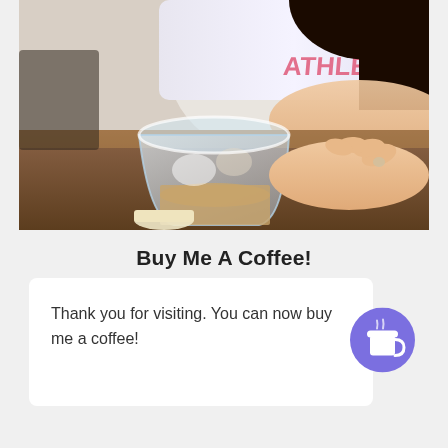[Figure (photo): Photo of a person sitting at a wooden table with a glass of iced coffee drink, hand resting on table, wearing a sleeveless top with text visible]
Buy Me A Coffee!
Thank you for visiting. You can now buy me a coffee!